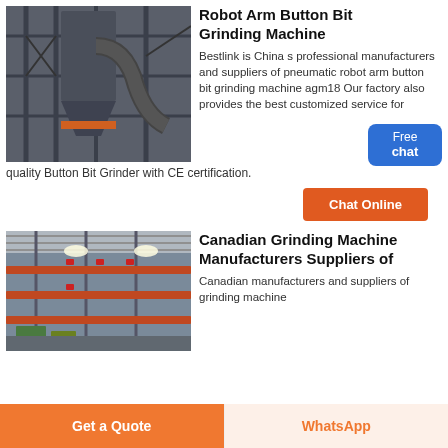[Figure (photo): Industrial grinding machine with metal framework, silos, and pipes in a factory setting]
Robot Arm Button Bit Grinding Machine
Bestlink is China s professional manufacturers and suppliers of pneumatic robot arm button bit grinding machine agm18 Our factory also provides the best customized service for quality Button Bit Grinder with CE certification.
[Figure (illustration): Customer service representative icon with Free chat button in blue]
[Figure (photo): Industrial factory floor with multi-level conveyor systems and bright overhead lighting]
Canadian Grinding Machine Manufacturers Suppliers of
Canadian manufacturers and suppliers of grinding machine